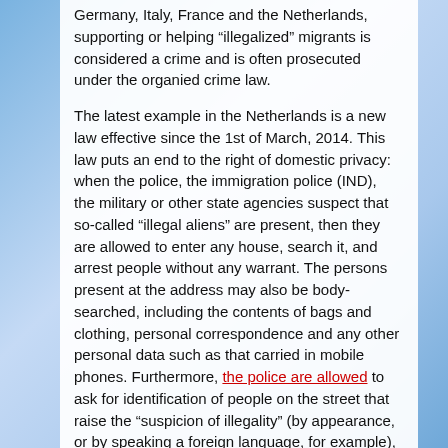Germany, Italy, France and the Netherlands, supporting or helping “illlegalized” migrants is considered a crime and is often prosecuted under the organied crime law.
The latest example in the Netherlands is a new law effective since the 1st of March, 2014. This law puts an end to the right of domestic privacy: when the police, the immigration police (IND), the military or other state agencies suspect that so-called “illegal aliens” are present, then they are allowed to enter any house, search it, and arrest people without any warrant. The persons present at the address may also be body-searched, including the contents of bags and clothing, personal correspondence and any other personal data such as that carried in mobile phones. Furthermore, the police are allowed to ask for identification of people on the street that raise the “suspicion of illegality” (by appearance, or by speaking a foreign language, for example), and to arrest them. This is not simply a tool to criminalise migrants and supporters: in the Netherlands, as much as in the rest of Europe, the war on migration is being used as an excuse to suspend rights, to extend police powers, to surveil and to control any part of the